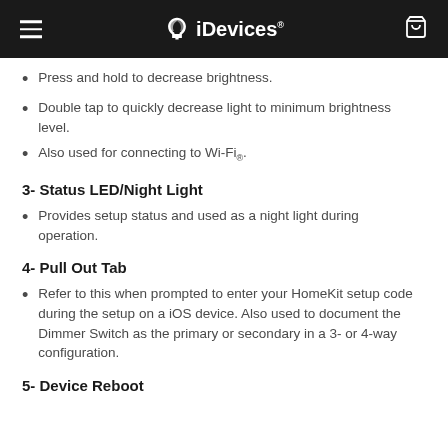iDevices
Press and hold to decrease brightness.
Double tap to quickly decrease light to minimum brightness level.
Also used for connecting to Wi-Fi®.
3- Status LED/Night Light
Provides setup status and used as a night light during operation.
4- Pull Out Tab
Refer to this when prompted to enter your HomeKit setup code during the setup on a iOS device. Also used to document the Dimmer Switch as the primary or secondary in a 3- or 4-way configuration.
5- Device Reboot